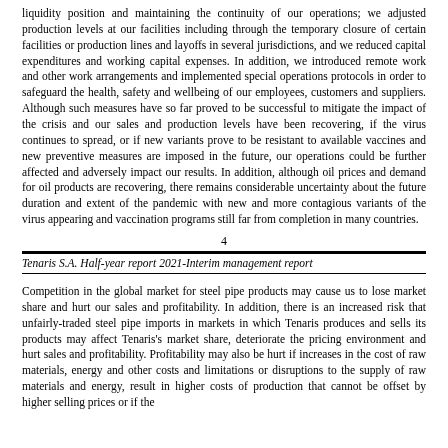liquidity position and maintaining the continuity of our operations; we adjusted production levels at our facilities including through the temporary closure of certain facilities or production lines and layoffs in several jurisdictions, and we reduced capital expenditures and working capital expenses. In addition, we introduced remote work and other work arrangements and implemented special operations protocols in order to safeguard the health, safety and wellbeing of our employees, customers and suppliers. Although such measures have so far proved to be successful to mitigate the impact of the crisis and our sales and production levels have been recovering, if the virus continues to spread, or if new variants prove to be resistant to available vaccines and new preventive measures are imposed in the future, our operations could be further affected and adversely impact our results. In addition, although oil prices and demand for oil products are recovering, there remains considerable uncertainty about the future duration and extent of the pandemic with new and more contagious variants of the virus appearing and vaccination programs still far from completion in many countries.
4
Tenaris S.A. Half-year report 2021-Interim management report
Competition in the global market for steel pipe products may cause us to lose market share and hurt our sales and profitability. In addition, there is an increased risk that unfairly-traded steel pipe imports in markets in which Tenaris produces and sells its products may affect Tenaris's market share, deteriorate the pricing environment and hurt sales and profitability. Profitability may also be hurt if increases in the cost of raw materials, energy and other costs and limitations or disruptions to the supply of raw materials and energy, result in higher costs of production that cannot be offset by higher selling prices or if the